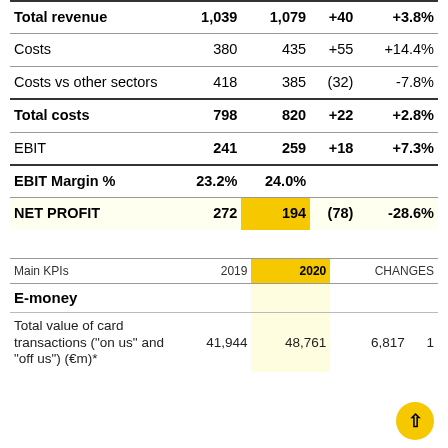|  | 2019 | 2020 | CHANGES |  |
| --- | --- | --- | --- | --- |
| Total revenue | 1,039 | 1,079 | +40 | +3.8% |
| Costs | 380 | 435 | +55 | +14.4% |
| Costs vs other sectors | 418 | 385 | (32) | -7.8% |
| Total costs | 798 | 820 | +22 | +2.8% |
| EBIT | 241 | 259 | +18 | +7.3% |
| EBIT Margin % | 23.2% | 24.0% |  |  |
| NET PROFIT | 272 | 194 | (78) | -28.6% |
| Main KPIs | 2019 | 2020 | CHANGES |  |
| --- | --- | --- | --- | --- |
| E-money |  |  |  |  |
| Total value of card transactions ("on us" and "off us") (€m)* | 41,944 | 48,761 | 6,817 | 1... |